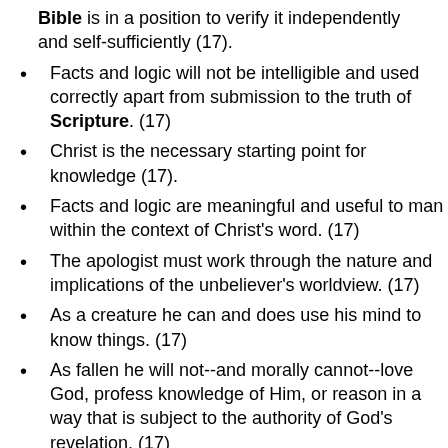Bible is in a position to verify it independently and self-sufficiently (17).
Facts and logic will not be intelligible and used correctly apart from submission to the truth of Scripture. (17)
Christ is the necessary starting point for knowledge (17).
Facts and logic are meaningful and useful to man within the context of Christ's word. (17)
The apologist must work through the nature and implications of the unbeliever's worldview. (17)
As a creature he can and does use his mind to know things. (17)
As fallen he will not--and morally cannot--love God, profess knowledge of Him, or reason in a way that is subject to the authority of God's revelation. (17)
The unbeliever sees (18):
The world as contingent